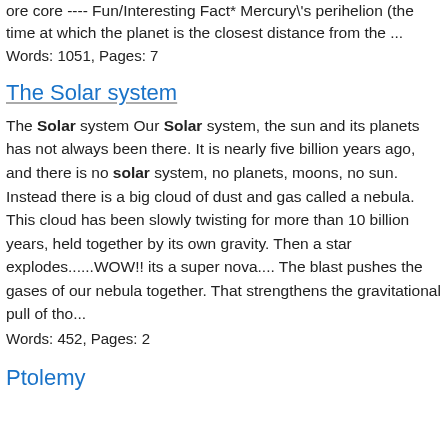ore core ---- Fun/Interesting Fact* Mercury's perihelion (the time at which the planet is the closest distance from the ... Words: 1051, Pages: 7
The Solar system
The Solar system Our Solar system, the sun and its planets has not always been there. It is nearly five billion years ago, and there is no solar system, no planets, moons, no sun. Instead there is a big cloud of dust and gas called a nebula. This cloud has been slowly twisting for more than 10 billion years, held together by its own gravity. Then a star explodes......WOW!! its a super nova.... The blast pushes the gases of our nebula together. That strengthens the gravitational pull of tho...
Words: 452, Pages: 2
Ptolemy